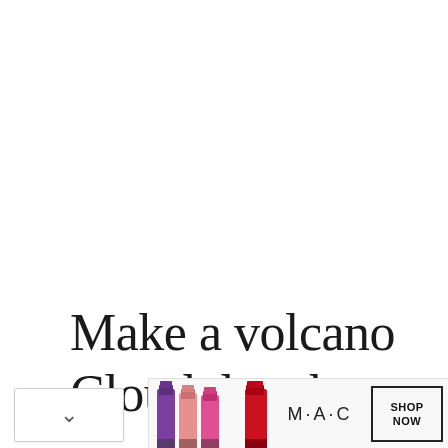Make a volcano
Cloud dough
[Figure (illustration): MAC cosmetics advertisement banner showing purple, pink, and red lipsticks with MAC logo and SHOP NOW button]